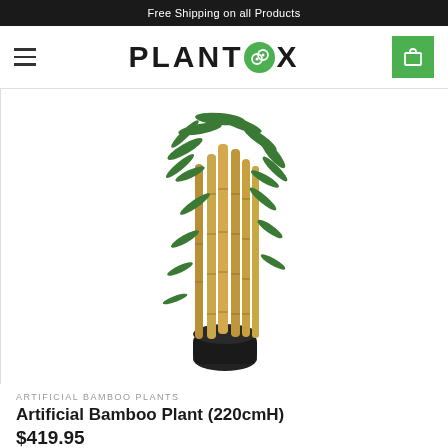Free Shipping on all Products
[Figure (logo): PLANTBOX logo with green circular leaf icon replacing the 'O', hamburger menu on left, green cart button on right]
[Figure (photo): Artificial bamboo plant with tall golden-green bamboo stalks, green leaves, and a black round pot on a white background]
ARTIFICIAL BAMBOO PLANTS
Artificial Bamboo Plant (220cmH)
$419.95